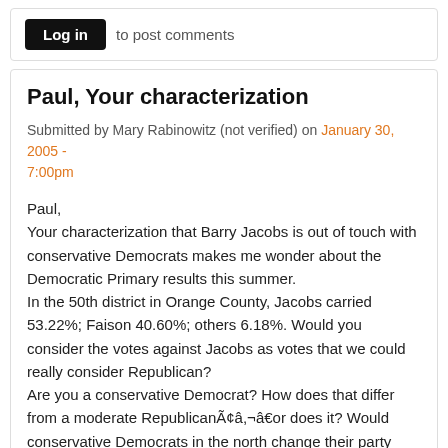Log in  to post comments
Paul, Your characterization
Submitted by Mary Rabinowitz (not verified) on January 30, 2005 - 7:00pm
Paul,
Your characterization that Barry Jacobs is out of touch with conservative Democrats makes me wonder about the Democratic Primary results this summer.
In the 50th district in Orange County, Jacobs carried 53.22%; Faison 40.60%; others 6.18%. Would you consider the votes against Jacobs as votes that we could really consider Republican?
Are you a conservative Democrat? How does that differ from a moderate RepublicanÃ¢â,¬â€or does it? Would conservative Democrats in the north change their party allegiance if we draw districts?
Log in  to post comments